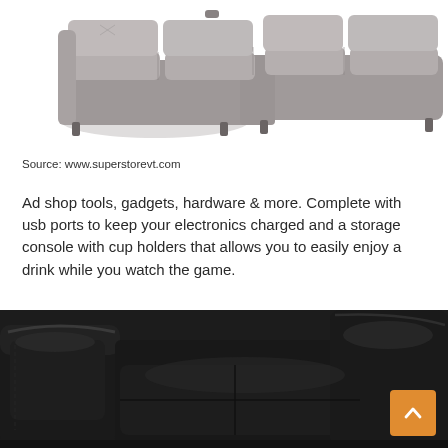[Figure (photo): Gray sectional sofa with reclining seats viewed from the side/back, on white background]
Source: www.superstorevt.com
Ad shop tools, gadgets, hardware & more. Complete with usb ports to keep your electronics charged and a storage console with cup holders that allows you to easily enjoy a drink while you watch the game.
[Figure (photo): Close-up photo of a black leather sofa/sectional with cushioned armrest and seat sections]